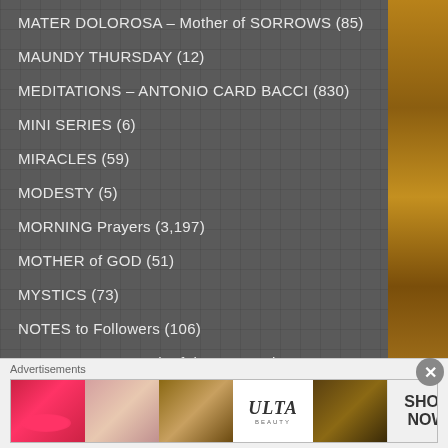MATER DOLOROSA – Mother of SORROWS (85)
MAUNDY THURSDAY (12)
MEDITATIONS – ANTONIO CARD BACCI (830)
MINI SERIES (6)
MIRACLES (59)
MODESTY (5)
MORNING Prayers (3,197)
MOTHER of GOD (51)
MYSTICS (73)
NOTES to Followers (106)
NOVEMBER – Month of the SOULS in PURGATORY
Advertisements